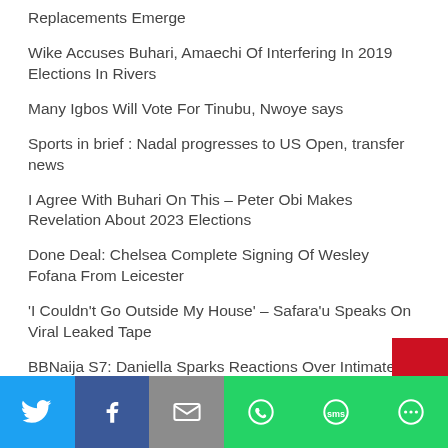Replacements Emerge
Wike Accuses Buhari, Amaechi Of Interfering In 2019 Elections In Rivers
Many Igbos Will Vote For Tinubu, Nwoye says
Sports in brief : Nadal progresses to US Open, transfer news
I Agree With Buhari On This – Peter Obi Makes Revelation About 2023 Elections
Done Deal: Chelsea Complete Signing Of Wesley Fofana From Leicester
'I Couldn't Go Outside My House' – Safara'u Speaks On Viral Leaked Tape
BBNaija S7: Daniella Sparks Reactions Over Intimate
Social share bar: Twitter, Facebook, Email, WhatsApp, SMS, More